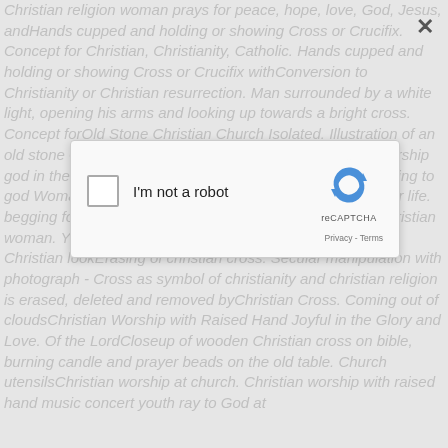Christian religion woman prays for peace, hope, love, God, Jesus, andHands cupped and holding or showing Cross or Crucifix. Concept for Christian, Christianity, Catholic. Hands cupped and holding or showing Cross or Crucifix withConversion to Christianity or Christian resurrection. Man surrounded by a white light, opening his arms and looking up towards a bright cross. Concept forOld Stone Christian Church Isolated. Illustration of an old stone Christian church. Isolated on white. Christians worship god in the building together background lighting hands praying to god Woman Pray for god blessi. Ng to wishing have a better life. begging for forgiveness and believe in goodnessAfrican Christian woman. Young woman Zimbabwe, black and white version, Christian lookErasing of christian cross. Secular manipulation with photograph - Cross as symbol of christianity and christian religion is erased, deleted and removed byChristian Cross. Coming out of cloudsChristian Worship with Raised Hand Joyful in the Glory and Love. Of the LordCloseup of wooden Christian cross on bible, burning candle and prayer beads on the old table. Church utensilsChristian worship at church. Christian worship with raised hand music concert youth ray to God at
[Figure (screenshot): reCAPTCHA dialog box with checkbox 'I'm not a robot' and reCAPTCHA logo, Privacy and Terms links, overlaid on the background text with a semi-transparent gray overlay. An X close button is visible in the top right of the overlay.]